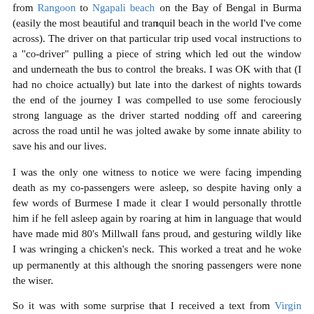from Rangoon to Ngapali beach on the Bay of Bengal in Burma (easily the most beautiful and tranquil beach in the world I've come across). The driver on that particular trip used vocal instructions to a "co-driver" pulling a piece of string which led out the window and underneath the bus to control the breaks. I was OK with that (I had no choice actually) but late into the darkest of nights towards the end of the journey I was compelled to use some ferociously strong language as the driver started nodding off and careering across the road until he was jolted awake by some innate ability to save his and our lives.
I was the only one witness to notice we were facing impending death as my co-passengers were asleep, so despite having only a few words of Burmese I made it clear I would personally throttle him if he fell asleep again by roaring at him in language that would have made mid 80's Millwall fans proud, and gesturing wildly like I was wringing a chicken's neck. This worked a treat and he woke up permanently at this although the snoring passengers were none the wiser.
So it was with some surprise that I received a text from Virgin Atlantic the night before my flight asking for my passport number.